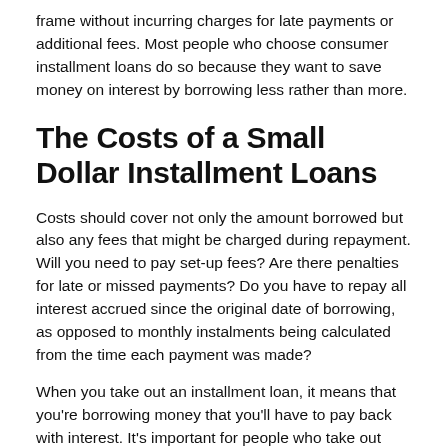frame without incurring charges for late payments or additional fees. Most people who choose consumer installment loans do so because they want to save money on interest by borrowing less rather than more.
The Costs of a Small Dollar Installment Loans
Costs should cover not only the amount borrowed but also any fees that might be charged during repayment. Will you need to pay set-up fees? Are there penalties for late or missed payments? Do you have to repay all interest accrued since the original date of borrowing, as opposed to monthly instalments being calculated from the time each payment was made?
When you take out an installment loan, it means that you're borrowing money that you'll have to pay back with interest. It's important for people who take out these types of loans to know how much they'll have to repay when they borrow a given amount. That's